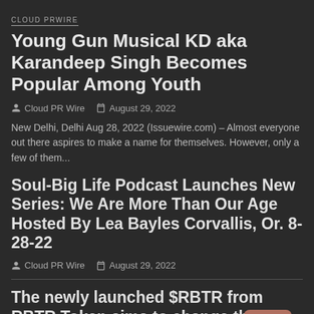CLOUD PRWIRE
Young Gun Musical KD aka Karandeep Singh Becomes Popular Among Youth
Cloud PR Wire   August 29, 2022
New Delhi, Delhi Aug 28, 2022 (Issuewire.com) – Almost everyone out there aspires to make a name for themselves. However, only a few of them...
Soul-Big Life Podcast Launches New Series: We Are More Than Our Age Hosted By Lea Bayles Corvallis, Or. 8-28-22
Cloud PR Wire   August 29, 2022
The newly launched $RBTR from RBTR Token aims to change the perceptions of cryptocurrencies.
Cloud PR Wire   August 28, 2022